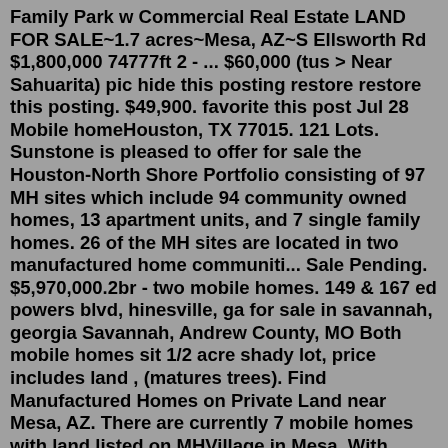Family Park w Commercial Real Estate LAND FOR SALE~1.7 acres~Mesa, AZ~S Ellsworth Rd $1,800,000 74777ft 2 - ... $60,000 (tus > Near Sahuarita) pic hide this posting restore restore this posting. $49,900. favorite this post Jul 28 Mobile homeHouston, TX 77015. 121 Lots. Sunstone is pleased to offer for sale the Houston-North Shore Portfolio consisting of 97 MH sites which include 94 community owned homes, 13 apartment units, and 7 single family homes. 26 of the MH sites are located in two manufactured home communiti... Sale Pending. $5,970,000.2br - two mobile homes. 149 & 167 ed powers blvd, hinesville, ga for sale in savannah, georgia Savannah, Andrew County, MO Both mobile homes sit 1/2 acre shady lot, price includes land , (matures trees). Find Manufactured Homes on Private Land near Mesa, AZ. There are currently 7 mobile homes with land listed on MHVillage in Mesa. With MHVillage, its easy to stay up to date with the latest mobile home listings in the Mesa area. When browsing homes, you can view features, photos, find